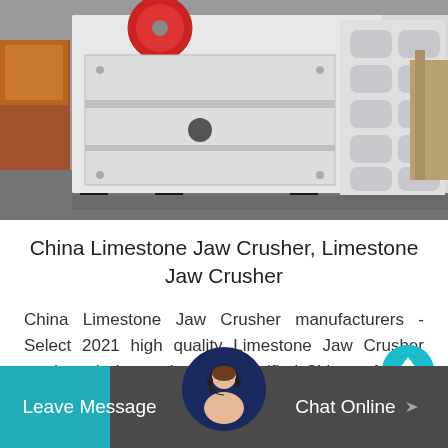[Figure (photo): Large white industrial jaw crusher machine on black feet, red circular component visible at top, multiple rectangular cutouts on side panel, shown in a warehouse/factory setting]
China Limestone Jaw Crusher, Limestone Jaw Crusher
China Limestone Jaw Crusher manufacturers - Select 2021 high quality Limestone Jaw Crusher products in best price from certified Chinese Mining Equipment,...
[Figure (infographic): Teal scroll-up arrow button (circular) on right side]
Leave Message  |  Chat Online